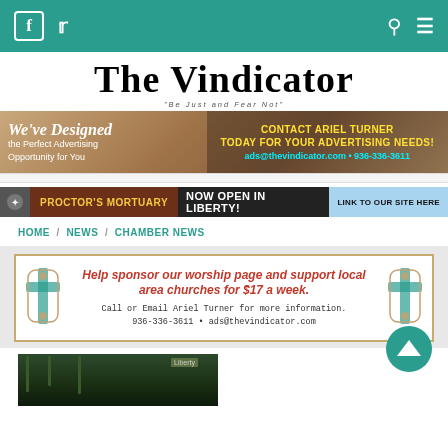Navigation bar with Facebook, Twitter, Search, and Menu icons on teal background
The Vindicator — "Be Just and Fear Not"
[Figure (infographic): Advertising banner: We've Designed the Perfect Advertising Opportunity for You. CONTACT ARIEL TURNER TODAY FOR YOUR ADVERTISING NEEDS! ads@thevindicator.com • 936-336-3611]
[Figure (infographic): Proctor's Mortuary — NOW OPEN IN LIBERTY! — LINK TO OUR SITE HERE]
HOME / NEWS / CHAMBER NEWS
[Figure (infographic): Help sponsor our worship page and support local area churches for $17 a week. Call or Email Ariel Turner for more information. 936-336-3611 • ads@thevindicator.com]
[Figure (photo): Partial photo at bottom of page showing trees and a street sign]